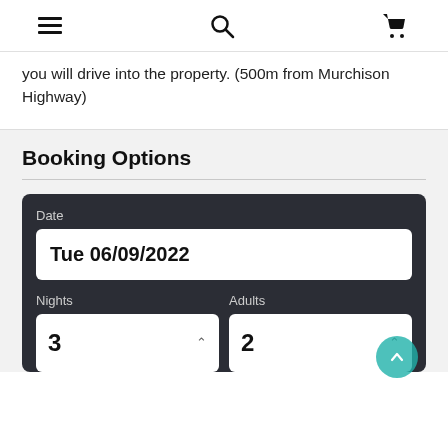Navigation bar with hamburger menu, search icon, and cart icon
you will drive into the property. (500m from Murchison Highway)
Booking Options
Date
Tue 06/09/2022
Nights
Adults
3
2